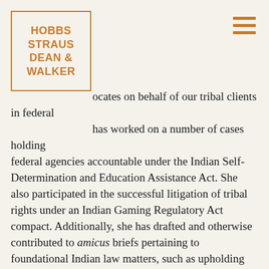[Figure (logo): Hobbs Straus Dean & Walker law firm logo in orange/gold color with border square]
...ocates on behalf of our tribal clients in federal ...has worked on a number of cases holding federal agencies accountable under the Indian Self-Determination and Education Assistance Act. She also participated in the successful litigation of tribal rights under an Indian Gaming Regulatory Act compact. Additionally, she has drafted and otherwise contributed to amicus briefs pertaining to foundational Indian law matters, such as upholding tribal sovereign immunity, jurisdiction, and land rights, and Native peoples' political status under federal law.
Katie has significant experience in protection of tribes' cultural heritage items and cultural resources. She works both domestically and internationally to prevent the sale at auction and secure the return of important tribal cultural heritage items. She also advocates for strengthening federal